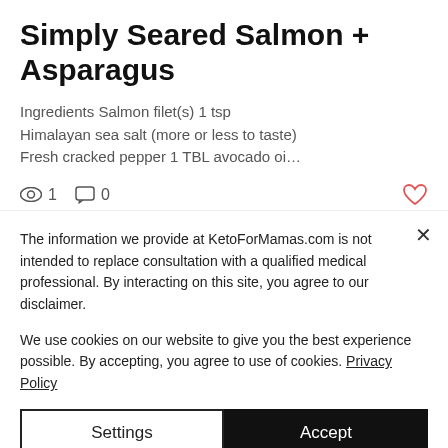Simply Seared Salmon + Asparagus
Ingredients Salmon filet(s) 1 tsp Himalayan sea salt (more or less to taste) Fresh cracked pepper 1 TBL avocado oi…
1  0
The information we provide at KetoForMamas.com is not intended to replace consultation with a qualified medical professional. By interacting on this site, you agree to our disclaimer.
We use cookies on our website to give you the best experience possible. By accepting, you agree to use of cookies. Privacy Policy
Settings
Accept